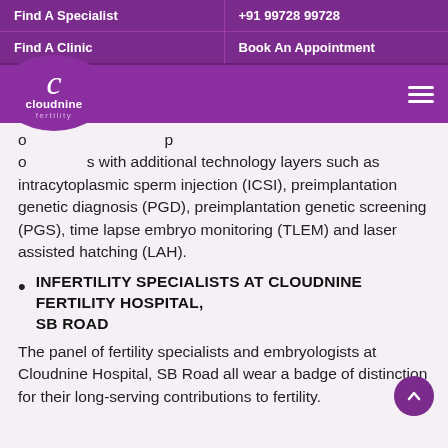Find A Specialist | +91 99728 99728
Find A Clinic | Book An Appointment
[Figure (logo): Cloudnine Fertility logo with decorative C letterform and navigation hamburger menu]
o s with additional technology layers such as intracytoplasmic sperm injection (ICSI), preimplantation genetic diagnosis (PGD), preimplantation genetic screening (PGS), time lapse embryo monitoring (TLEM) and laser assisted hatching (LAH).
INFERTILITY SPECIALISTS AT CLOUDNINE FERTILITY HOSPITAL, SB Road
The panel of fertility specialists and embryologists at Cloudnine Hospital, SB Road all wear a badge of distinction for their long-serving contributions to fertility.